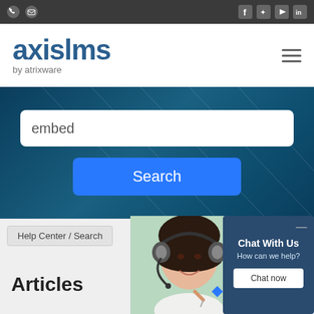Top navigation bar with phone, email, Facebook, Twitter, YouTube, LinkedIn icons
[Figure (logo): axislms by atrixware logo with hamburger menu icon]
[Figure (screenshot): Dark teal hero/search area with search field containing 'embed' and a blue Search button]
Help Center / Search
[Figure (photo): Woman wearing headset smiling, customer support representative]
[Figure (infographic): Chat With Us widget - How can we help? with Chat now button]
Articles